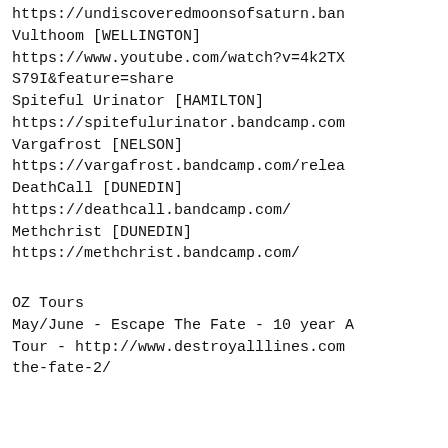https://undiscoveredmoonsofsaturn.ban
Vulthoom [WELLINGTON]
https://www.youtube.com/watch?v=4k2TX
S79I&feature=share
Spiteful Urinator [HAMILTON]
https://spitefulurinator.bandcamp.com
Vargafrost [NELSON]
https://vargafrost.bandcamp.com/relea
DeathCall [DUNEDIN]
https://deathcall.bandcamp.com/
Methchrist [DUNEDIN]
https://methchrist.bandcamp.com/
OZ Tours
May/June - Escape The Fate - 10 year A
Tour - http://www.destroyalllines.com
the-fate-2/